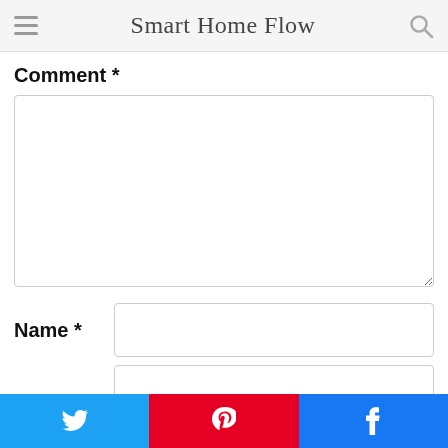Smart Home Flow
Comment *
Name *
Twitter | Pinterest | Facebook social share buttons